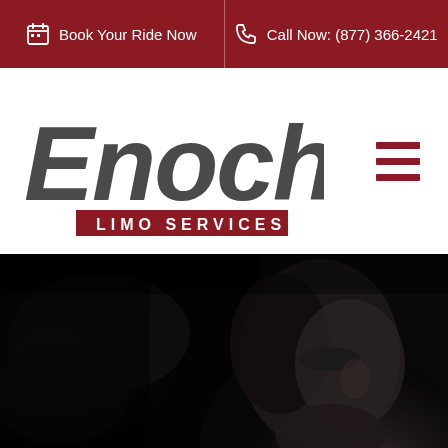Book Your Ride Now | Call Now: (877) 366-2421
[Figure (logo): Enoch Limo Services logo — stylized italic 'Enoch' in dark gray with 'LIMO SERVICES' in white text on a dark red banner below]
[Figure (photo): Dark moody black and white photo of a professional male chauffeur/driver, partially lit, shown from the shoulders up against a dark background]